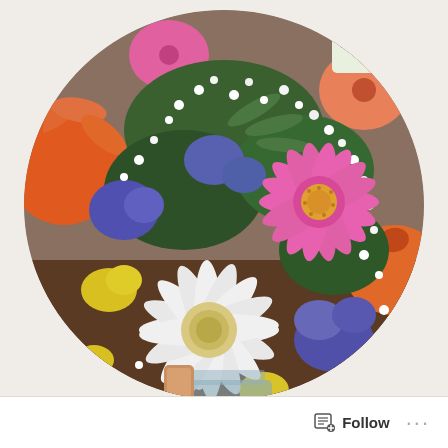[Figure (photo): A colorful flower bouquet in a glass vase displayed in an oval/circle crop. The arrangement includes pink and white gerbera daisies, purple statice, baby's breath (white), yellow blooms, and green filler foliage. A gold/copper ribbon is visible at the base of the vase. The background shows a store or shop setting with more flowers visible.]
Follow ...